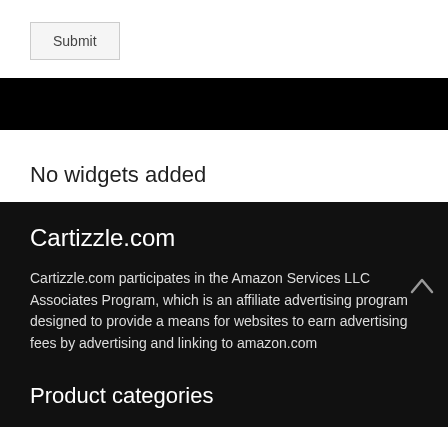browser for the next time I comment.
Submit
No widgets added
Cartizzle.com
Cartizzle.com participates in the Amazon Services LLC Associates Program, which is an affiliate advertising program designed to provide a means for websites to earn advertising fees by advertising and linking to amazon.com
Product categories